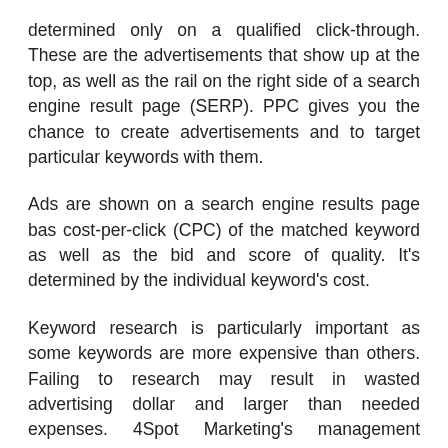determined only on a qualified click-through. These are the advertisements that show up at the top, as well as the rail on the right side of a search engine result page (SERP). PPC gives you the chance to create advertisements and to target particular keywords with them.
Ads are shown on a search engine results page bas cost-per-click (CPC) of the matched keyword as well as the bid and score of quality. It's determined by the individual keyword's cost.
Keyword research is particularly important as some keywords are more expensive than others. Failing to research may result in wasted advertising dollar and larger than needed expenses. 4Spot Marketing's management services provide more than just keyword bidding advice. We are solely focused towards